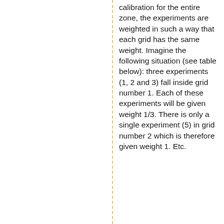calibration for the entire zone, the experiments are weighted in such a way that each grid has the same weight. Imagine the following situation (see table below): three experiments (1, 2 and 3) fall inside grid number 1. Each of these experiments will be given weight 1/3. There is only a single experiment (5) in grid number 2 which is therefore given weight 1. Etc.